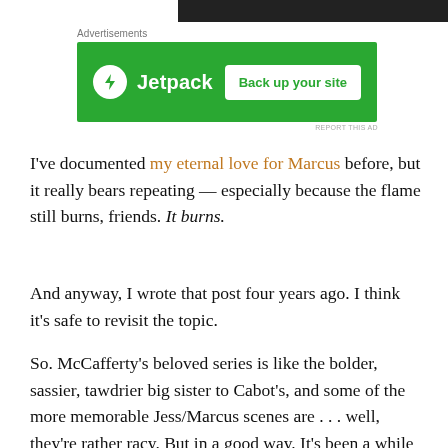[Figure (photo): Partial dark photo strip at top of page]
Advertisements
[Figure (other): Jetpack advertisement banner: green background with Jetpack logo (lightning bolt icon) and white 'Back up your site' button]
I've documented my eternal love for Marcus before, but it really bears repeating — especially because the flame still burns, friends. It burns.
And anyway, I wrote that post four years ago. I think it's safe to revisit the topic.
So. McCafferty's beloved series is like the bolder, sassier, tawdrier big sister to Cabot's, and some of the more memorable Jess/Marcus scenes are . . . well, they're rather racy. But in a good way. It's been a while since I finished the final book, but it's not the sort of thing you